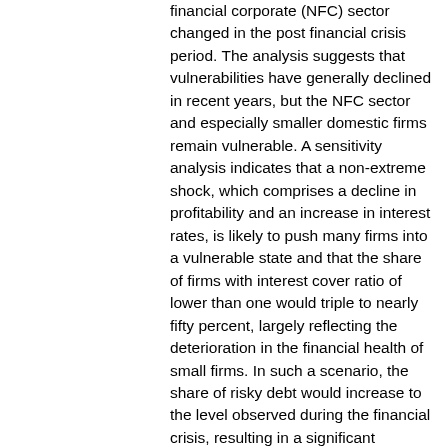financial corporate (NFC) sector changed in the post financial crisis period. The analysis suggests that vulnerabilities have generally declined in recent years, but the NFC sector and especially smaller domestic firms remain vulnerable. A sensitivity analysis indicates that a non-extreme shock, which comprises a decline in profitability and an increase in interest rates, is likely to push many firms into a vulnerable state and that the share of firms with interest cover ratio of lower than one would triple to nearly fifty percent, largely reflecting the deterioration in the financial health of small firms. In such a scenario, the share of risky debt would increase to the level observed during the financial crisis, resulting in a significant